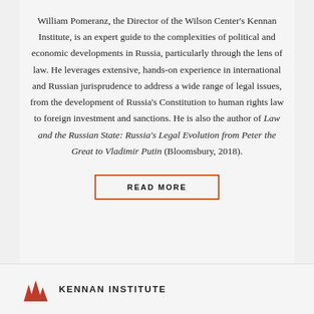William Pomeranz, the Director of the Wilson Center's Kennan Institute, is an expert guide to the complexities of political and economic developments in Russia, particularly through the lens of law. He leverages extensive, hands-on experience in international and Russian jurisprudence to address a wide range of legal issues, from the development of Russia's Constitution to human rights law to foreign investment and sanctions. He is also the author of Law and the Russian State: Russia's Legal Evolution from Peter the Great to Vladimir Putin (Bloomsbury, 2018).
READ MORE
[Figure (logo): Kennan Institute logo with flame/mountain graphic and text KENNAN INSTITUTE]